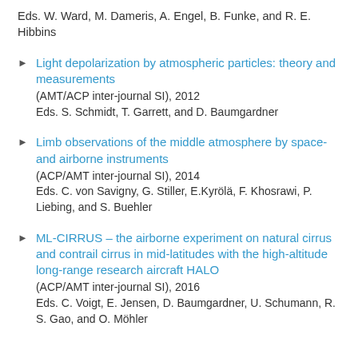Eds. W. Ward, M. Dameris, A. Engel, B. Funke, and R. E. Hibbins
Light depolarization by atmospheric particles: theory and measurements
(AMT/ACP inter-journal SI), 2012
Eds. S. Schmidt, T. Garrett, and D. Baumgardner
Limb observations of the middle atmosphere by space- and airborne instruments
(ACP/AMT inter-journal SI), 2014
Eds. C. von Savigny, G. Stiller, E.Kyrölä, F. Khosrawi, P. Liebing, and S. Buehler
ML-CIRRUS – the airborne experiment on natural cirrus and contrail cirrus in mid-latitudes with the high-altitude long-range research aircraft HALO
(ACP/AMT inter-journal SI), 2016
Eds. C. Voigt, E. Jensen, D. Baumgardner, U. Schumann, R. S. Gao, and O. Möhler